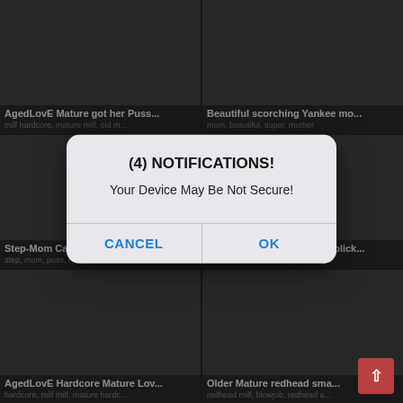[Figure (screenshot): Mobile website video grid with 6 video thumbnails showing adult content titles on a dark background]
[Figure (screenshot): Browser dialog popup with title '(4) NOTIFICATIONS!' and message 'Your Device May Be Not Secure!' with CANCEL and OK buttons]